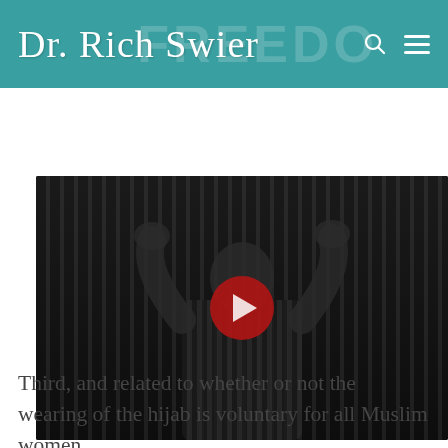Dr. Rich Swier
[Figure (screenshot): Video thumbnail showing a person in a striped shirt with hands raised, dark background, red YouTube-style play button overlay in center]
Third, and related to whether or not the wearing of the hijab is voluntary for all Muslim women,